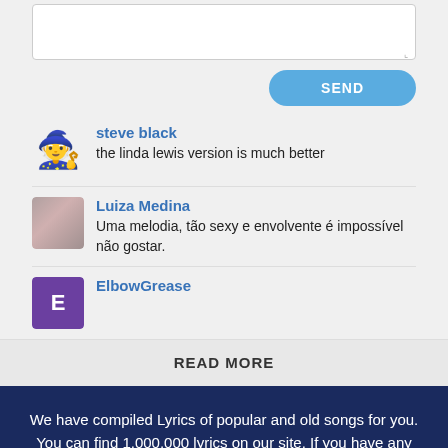steve black: the linda lewis version is much better
Luiza Medina: Uma melodia, tão sexy e envolvente é impossível não gostar.
ElbowGrease
READ MORE
We have compiled Lyrics of popular and old songs for you. You can find 1,000,000 lyrics on our site. If you have any Lyrics that you want to be added, you can contact us.